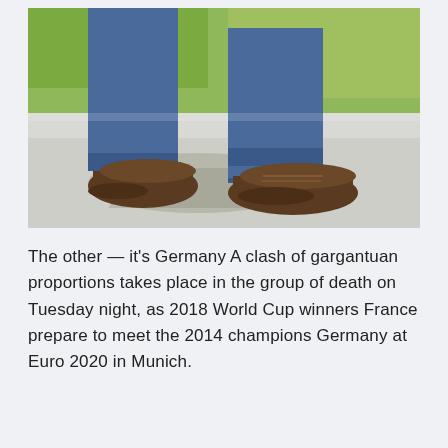[Figure (photo): Photo of a person's legs from the knees down, wearing blue jeans and dark brown leather shoes, walking on a concrete sidewalk with green grass visible in the background.]
The other — it's Germany A clash of gargantuan proportions takes place in the group of death on Tuesday night, as 2018 World Cup winners France prepare to meet the 2014 champions Germany at Euro 2020 in Munich.